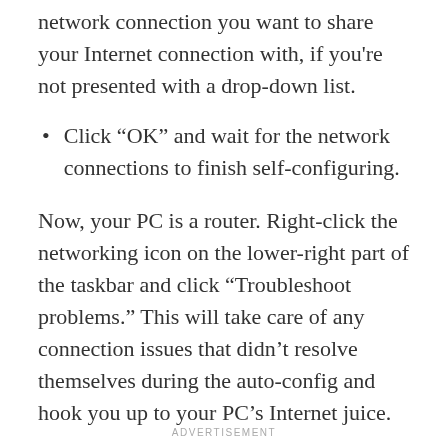network connection you want to share your Internet connection with, if you're not presented with a drop-down list.
Click “OK” and wait for the network connections to finish self-configuring.
Now, your PC is a router. Right-click the networking icon on the lower-right part of the taskbar and click “Troubleshoot problems.” This will take care of any connection issues that didn’t resolve themselves during the auto-config and hook you up to your PC’s Internet juice.
ADVERTISEMENT